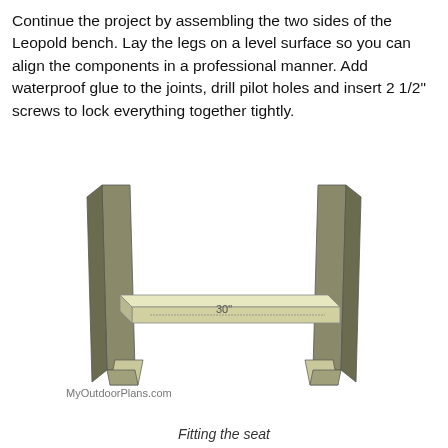Continue the project by assembling the two sides of the Leopold bench. Lay the legs on a level surface so you can align the components in a professional manner. Add waterproof glue to the joints, drill pilot holes and insert 2 1/2" screws to lock everything together tightly.
[Figure (engineering-diagram): 3D diagram of a Leopold bench frame assembly showing two sets of angled wooden legs connected by a horizontal seat board labeled 30". A watermark reads MyOutdoorPlans.com.]
Fitting the seat